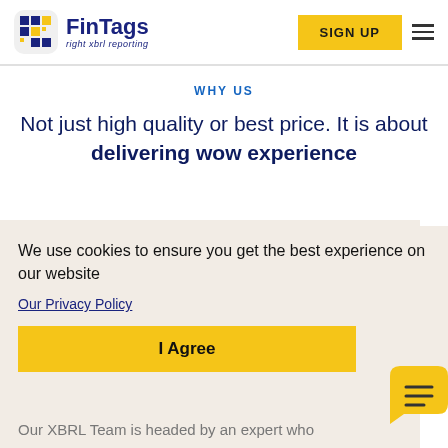FinTags — right xbrl reporting | SIGN UP
WHY US
Not just high quality or best price. It is about delivering wow experience
We use cookies to ensure you get the best experience on our website
Our Privacy Policy
I Agree
Our XBRL Team is headed by an expert who